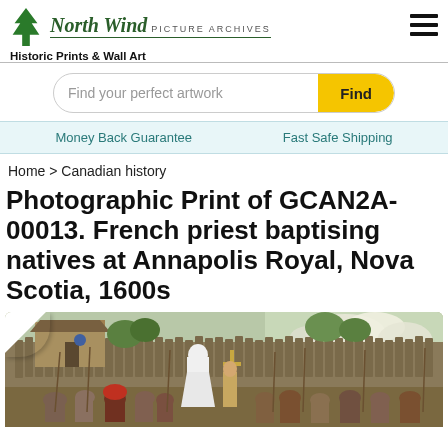[Figure (logo): North Wind Picture Archives logo with tree icon, stylized text, and tagline 'Historic Prints & Wall Art']
[Figure (infographic): Hamburger menu icon (three horizontal bars)]
[Figure (infographic): Search bar with placeholder 'Find your perfect artwork' and yellow 'Find' button]
Money Back Guarantee    Fast Safe Shipping
Home > Canadian history
Photographic Print of GCAN2A-00013. French priest baptising natives at Annapolis Royal, Nova Scotia, 1600s
[Figure (photo): Historical illustration/print showing a French priest baptising natives at Annapolis Royal, Nova Scotia in the 1600s. Shows a settlement with wooden palisade walls, a priest in white robes holding a cross, and a crowd of figures.]